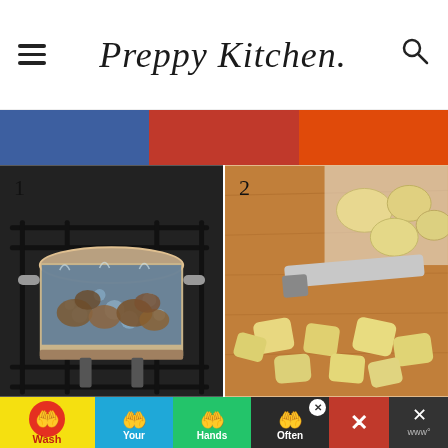Preppy Kitchen
[Figure (infographic): Color bar with three sections: blue, red, orange]
[Figure (photo): Step 1: Potatoes boiling in a pot of water on a gas stove]
[Figure (photo): Step 2: Whole and chopped yellow potatoes on a wooden cutting board with a knife]
[Figure (infographic): Advertisement banner: Wash Your Hands Often with hand washing icons in yellow, blue, green, red, and dark sections]